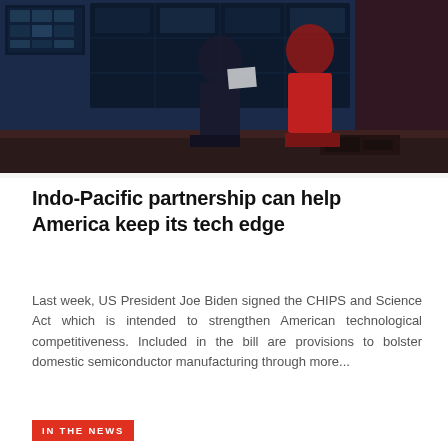[Figure (photo): Two people standing in front of a large control room display panel with monitors and electronics. One person wears a red top, another darker clothing. The room is dimly lit with blue lighting.]
Indo-Pacific partnership can help America keep its tech edge
Last week, US President Joe Biden signed the CHIPS and Science Act which is intended to strengthen American technological competitiveness. Included in the bill are provisions to bolster domestic semiconductor manufacturing through more...
IN THE NEWS
[Figure (photo): A military amphibious assault vehicle traveling through choppy ocean water, dark armored hull with gun turret visible, sea spray around it, grey overcast sky in background.]